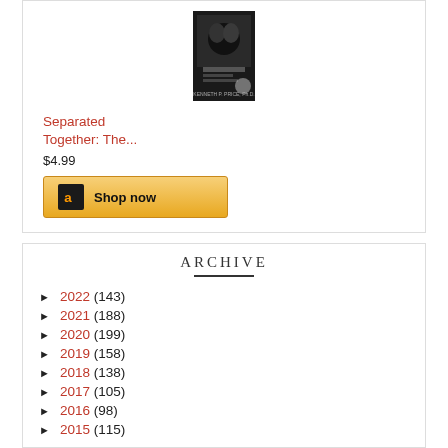[Figure (other): Book cover image for 'Separated Together' — dark cover with a figure, displayed as a small thumbnail]
Separated Together: The...
$4.99
[Figure (other): Amazon 'Shop now' button with Amazon logo]
ARCHIVE
► 2022 (143)
► 2021 (188)
► 2020 (199)
► 2019 (158)
► 2018 (138)
► 2017 (105)
► 2016 (98)
► 2015 (115)